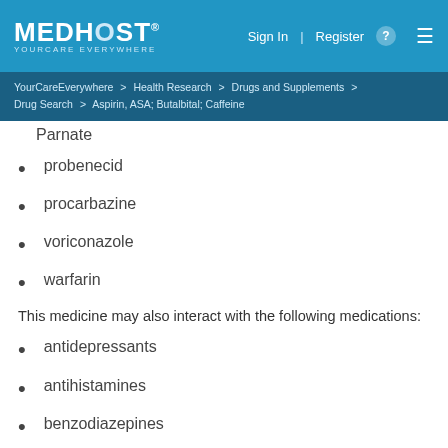MEDHOST YOURCARE EVERYWHERE | Sign In | Register | (menu)
YourCareEverywhere > Health Research > Drugs and Supplements > Drug Search > Aspirin, ASA; Butalbital; Caffeine
Parnate
probenecid
procarbazine
voriconazole
warfarin
This medicine may also interact with the following medications:
antidepressants
antihistamines
benzodiazepines
heparin and heparin like drugs including enoxaparin, dalteparin, and tinzaparin